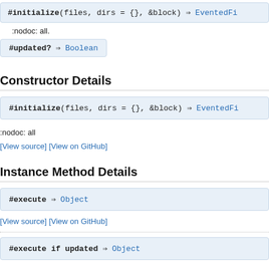#initialize(files, dirs = {}, &block) ⇒ EventedFi
:nodoc: all.
#updated? ⇒ Boolean
Constructor Details
#initialize(files, dirs = {}, &block) ⇒ EventedFi
:nodoc: all
[View source] [View on GitHub]
Instance Method Details
#execute ⇒ Object
[View source] [View on GitHub]
#execute if updated ⇒ Object